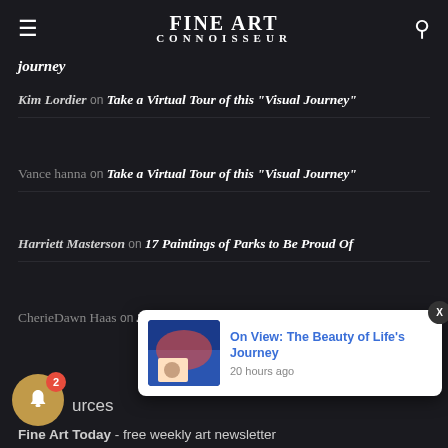FINE ART CONNOISSEUR
journey
Kim Lordier on Take a Virtual Tour of this "Visual Journey"
Vance hanna on Take a Virtual Tour of this "Visual Journey"
Harriett Masterson on 17 Paintings of Parks to Be Proud Of
CherieDawn Haas on 38th Annual Buffalo Bill Art Show & Sale
[Figure (screenshot): Notification popup with thumbnail image: On View: The Beauty of Life's Journey, 20 hours ago]
urces
Fine Art Today - free weekly art newsletter